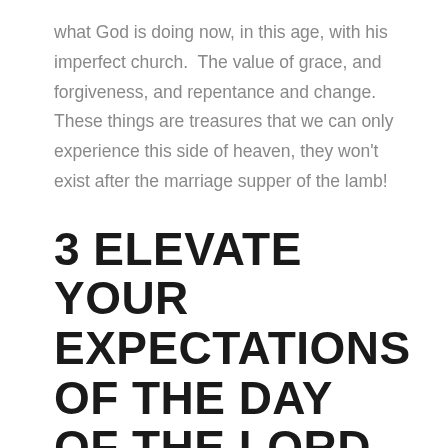what God is doing now, in this age, with his imperfect church.  The value of grace, and forgiveness, and repentance and change.  These things are treasures that we can only experience this side of heaven, they won't exist after the marriage supper of the lamb!
3 ELEVATE YOUR EXPECTATIONS OF THE DAY OF THE LORD
Finally, briefly, this parable teaches us to elevate our